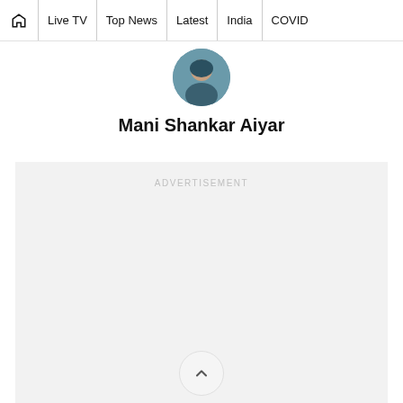🏠 | Live TV | Top News | Latest | India | COVID
[Figure (photo): Circular profile photo of Mani Shankar Aiyar]
Mani Shankar Aiyar
ADVERTISEMENT